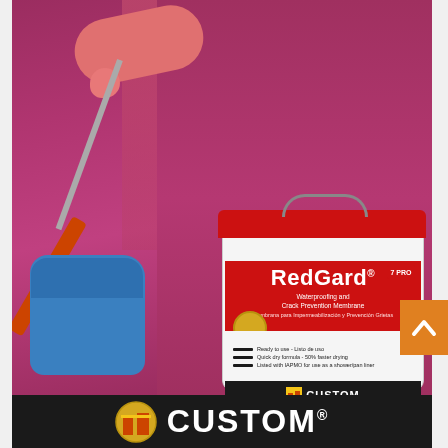[Figure (photo): A hand wearing a blue protective glove holding an orange paint roller with red/pink paint, applying RedGard waterproofing membrane (pink/red color) to a wall. A white bucket of Custom Building Products RedGard Waterproofing and Crack Prevention Membrane with red lid and label is shown in the foreground.]
[Figure (logo): Custom Building Products logo in white text on black background with orange/gold building icon, shown in footer bar. Text reads CUSTOM with registered trademark symbol.]